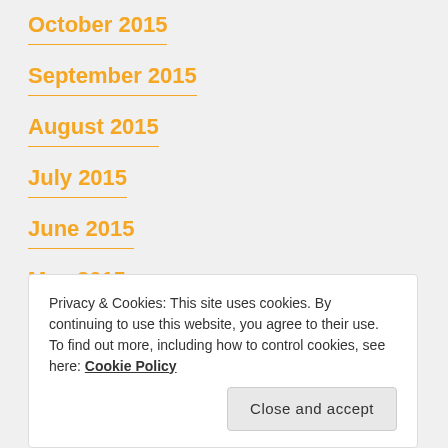October 2015
September 2015
August 2015
July 2015
June 2015
May 2015
April 2015
Privacy & Cookies: This site uses cookies. By continuing to use this website, you agree to their use. To find out more, including how to control cookies, see here: Cookie Policy
Close and accept